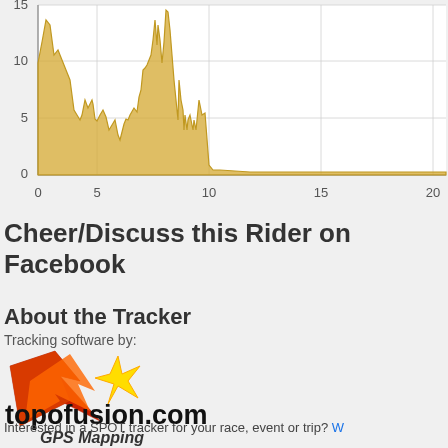[Figure (area-chart): Area chart showing rider speed/elevation data over distance (0-22+), y-axis 0-15, golden/yellow filled area shape peaking around x=1-9 range then dropping near zero after x=9]
Cheer/Discuss this Rider on Facebook
About the Tracker
Tracking software by:
[Figure (logo): topofusion.com GPS Mapping logo with red/orange lightning bolt graphic]
Interested in a SPOT tracker for your race, event or trip? W...